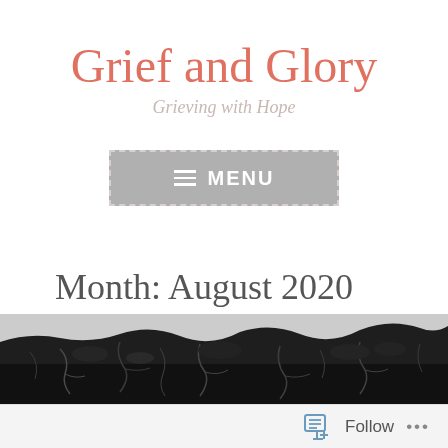Grief and Glory
Grieving with Hope
[Figure (other): Menu navigation button: a grey rectangular button with dashed border containing a hamburger icon and the word MENU in white capital letters]
Month: August 2020
[Figure (photo): Cracked dry earth texture in black and white, appearing at the bottom of the page]
Follow ...